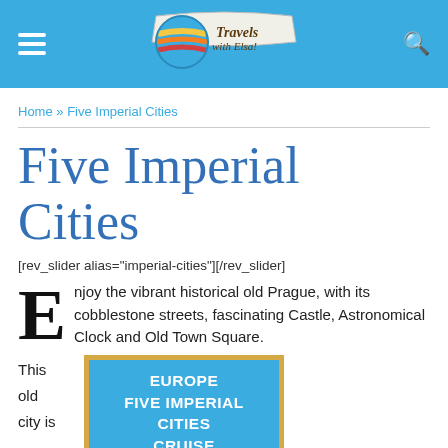Travels with Elsa! [navigation header with hamburger menu and search icon]
Home » Five Imperial Cities
Five Imperial Cities
[rev_slider alias="imperial-cities"][/rev_slider]
Enjoy the vibrant historical old Prague, with its cobblestone streets, fascinating Castle, Astronomical Clock and Old Town Square.
This
old
city is
[Figure (other): Blue banner with gold border reading EUROPE FIVE IMPERIAL CITIES CRUISE in white bold text]